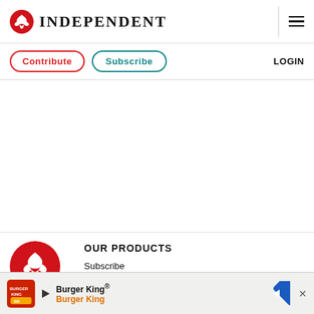INDEPENDENT
Contribute | Subscribe | LOGIN
[Figure (other): Large blank white content/advertisement area]
[Figure (logo): Independent newspaper red circle eagle logo in footer]
OUR PRODUCTS
Subscribe
Register
[Figure (other): Burger King advertisement banner at bottom of page]